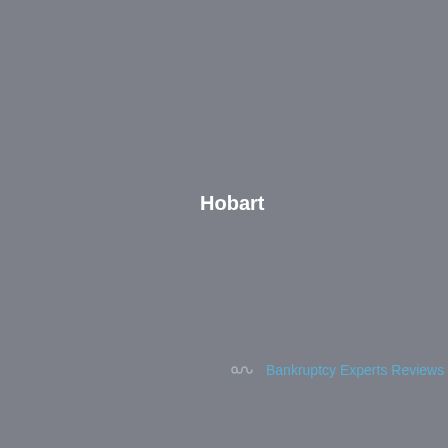Hobart
Bankruptcy Experts Reviews